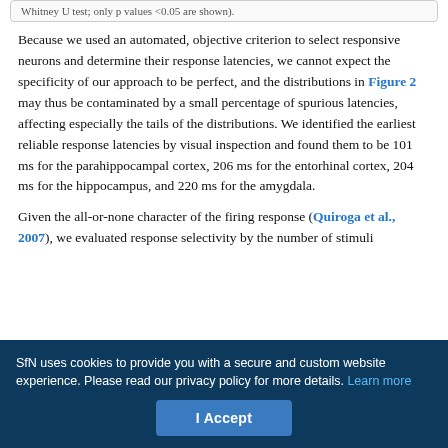Whitney U test; only p values <0.05 are shown).
Because we used an automated, objective criterion to select responsive neurons and determine their response latencies, we cannot expect the specificity of our approach to be perfect, and the distributions in Figure 2 may thus be contaminated by a small percentage of spurious latencies, affecting especially the tails of the distributions. We identified the earliest reliable response latencies by visual inspection and found them to be 101 ms for the parahippocampal cortex, 206 ms for the entorhinal cortex, 204 ms for the hippocampus, and 220 ms for the amygdala.
Given the all-or-none character of the firing response (Quiroga et al., 2007), we evaluated response selectivity by the number of stimuli
SfN uses cookies to provide you with a secure and custom website experience. Please read our privacy policy for more details. Learn more